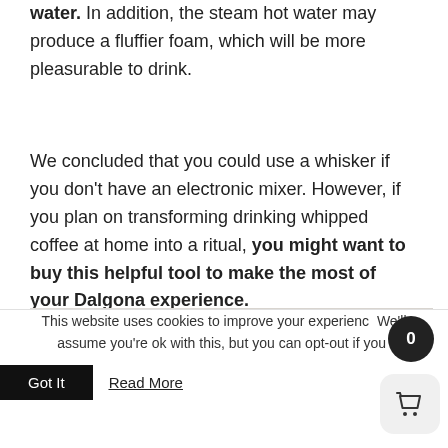water. In addition, the steam hot water may produce a fluffier foam, which will be more pleasurable to drink.
We concluded that you could use a whisker if you don't have an electronic mixer. However, if you plan on transforming drinking whipped coffee at home into a ritual, you might want to buy this helpful tool to make the most of your Dalgona experience.
[Figure (photo): Partial image of an open book with white pages, visible text lines on pages.]
This website uses cookies to improve your experience. We'll assume you're ok with this, but you can opt-out if you wish.